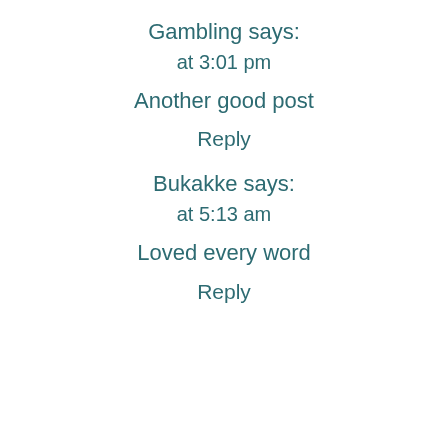Gambling says:
at 3:01 pm
Another good post
Reply
Bukakke says:
at 5:13 am
Loved every word
Reply